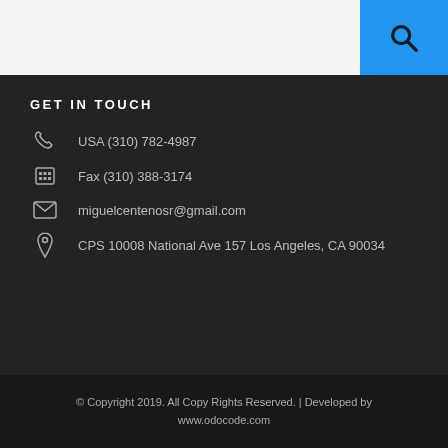GET IN TOUCH
USA (310) 782-4987
Fax (310) 388-3174
miguelcentenosr@gmail.com
CPS 10008 National Ave 157 Los Angeles, CA 90034
© Copyright 2019. All Copy Rights Reserved. | Developed by www.odocode.com